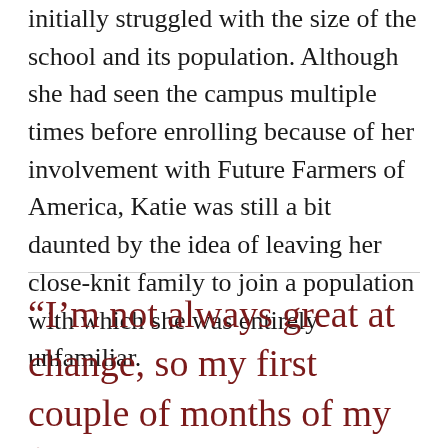initially struggled with the size of the school and its population. Although she had seen the campus multiple times before enrolling because of her involvement with Future Farmers of America, Katie was still a bit daunted by the idea of leaving her close-knit family to join a population with which she was entirely unfamiliar.
“I’m not always great at change, so my first couple of months of my freshman year were